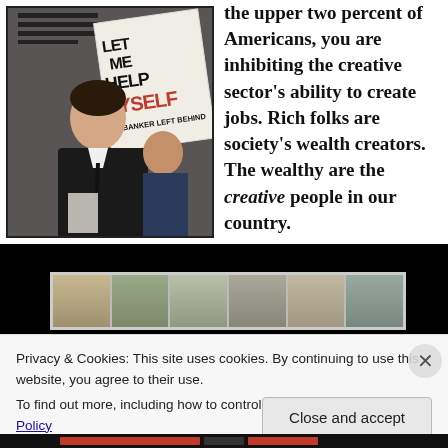[Figure (photo): Person at a rally holding a sign that reads 'LET ME HELP MYSELF NO BANKER LEFT BEHIND']
the upper two percent of Americans, you are inhibiting the creative sector's ability to create jobs. Rich folks are society's wealth creators. The wealthy are the creative people in our country.
[Figure (photo): Video strip thumbnails on black background]
Privacy & Cookies: This site uses cookies. By continuing to use this website, you agree to their use.
To find out more, including how to control cookies, see here: Cookie Policy
Close and accept